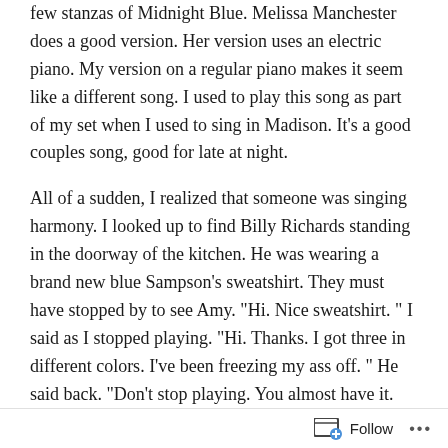few stanzas of Midnight Blue. Melissa Manchester does a good version. Her version uses an electric piano. My version on a regular piano makes it seem like a different song. I used to play this song as part of my set when I used to sing in Madison. It's a good couples song, good for late at night.
All of a sudden, I realized that someone was singing harmony. I looked up to find Billy Richards standing in the doorway of the kitchen. He was wearing a brand new blue Sampson's sweatshirt. They must have stopped by to see Amy. "Hi. Nice sweatshirt. " I said as I stopped playing. "Hi. Thanks. I got three in different colors. I've been freezing my ass off. " He said back. "Don't stop playing. You almost have it. Scoot over." He came and sat next to me and pointed out a few things on the sheet music. "I think this is where you are getting hung up." He showed me how he would play it. I practiced a few times and finally got it. We played and sang the entire song. It wasn't half bad.
Follow